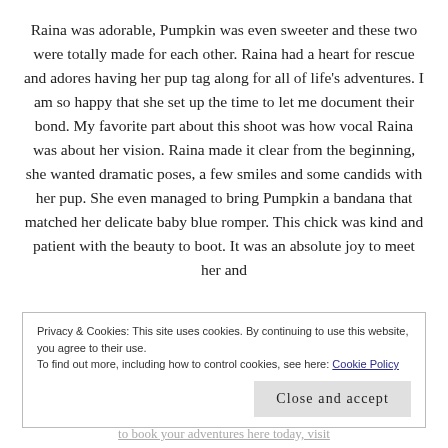Raina was adorable, Pumpkin was even sweeter and these two were totally made for each other. Raina had a heart for rescue and adores having her pup tag along for all of life's adventures. I am so happy that she set up the time to let me document their bond. My favorite part about this shoot was how vocal Raina was about her vision. Raina made it clear from the beginning, she wanted dramatic poses, a few smiles and some candids with her pup. She even managed to bring Pumpkin a bandana that matched her delicate baby blue romper. This chick was kind and patient with the beauty to boot. It was an absolute joy to meet her and
Privacy & Cookies: This site uses cookies. By continuing to use this website, you agree to their use.
To find out more, including how to control cookies, see here: Cookie Policy
Close and accept